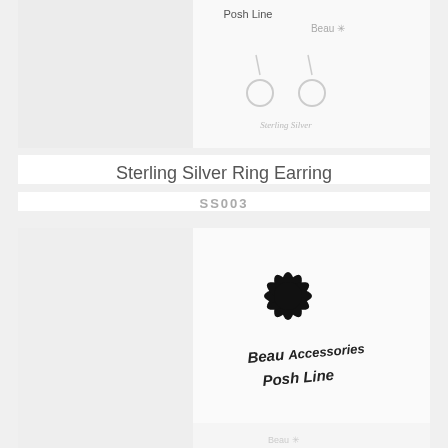[Figure (photo): Sterling silver ring earrings on a product card with 'Posh Line' and 'Beau' branding visible. White background with silver hoop earrings displayed.]
Sterling Silver Ring Earring
SS003
[Figure (photo): A product packaging/tag showing a black daisy flower illustration and text 'Beau Accessories Posh Line' in a stylized font.]